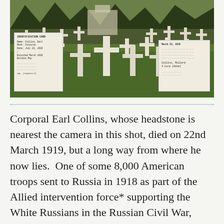[Figure (photo): A military cemetery with rows of white crosses on green grass, trees in the background. Two overlaid document images: a historical military record on the left and another document on the right.]
Corporal Earl Collins, whose headstone is nearest the camera in this shot, died on 22nd March 1919, but a long way from where he now lies.  One of some 8,000 American troops sent to Russia in 1918 as part of the Allied intervention force* supporting the White Russians in the Russian Civil War, Collins was captured by the Bolsheviks and died, aged 28, in a hospital in Moscow.  He had previously been reported wounded and then missing, although both reports were later